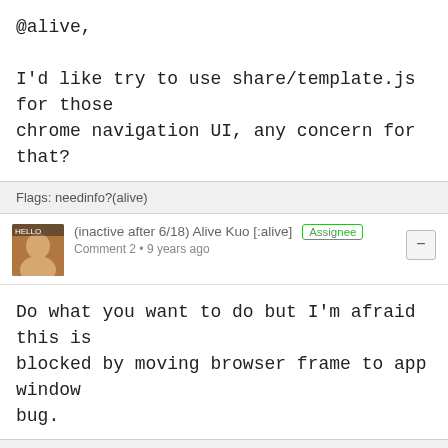@alive,

I'd like try to use share/template.js for those chrome navigation UI, any concern for that?
Flags: needinfo?(alive)
(inactive after 6/18) Alive Kuo [:alive] Assignee
Comment 2 • 9 years ago
Do what you want to do but I'm afraid this is blocked by moving browser frame to app window bug.
Flags: needinfo?(alive)
Vivien Nicolas (:vingtetun) (:21) - (NOT reading bugmails, needinfo? please)
Comment 3 • 9 years ago
Also it is prematurate to do too much work on its right, running the same stuff, should...